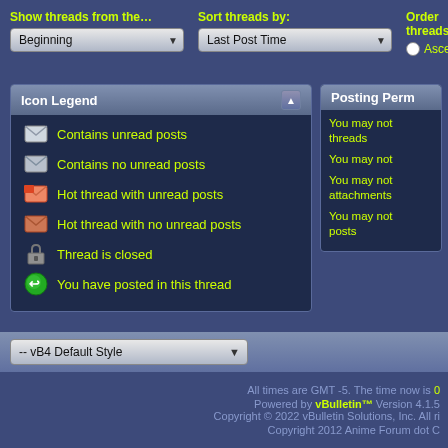Show threads from the...
Beginning
Sort threads by:
Last Post Time
Order threads
Ascending
Icon Legend
Contains unread posts
Contains no unread posts
Hot thread with unread posts
Hot thread with no unread posts
Thread is closed
You have posted in this thread
Posting Perm
You may not threads
You may not
You may not attachments
You may not posts
-- vB4 Default Style
All times are GMT -5. The time now is 0
Powered by vBulletin™ Version 4.1.5 Copyright © 2022 vBulletin Solutions, Inc. All ri
Copyright 2012 Anime Forum dot C